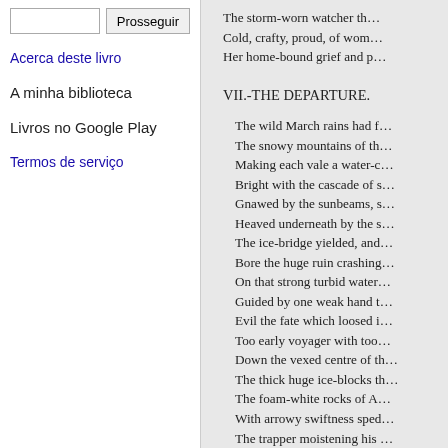[search input] Prosseguir
Acerca deste livro
A minha biblioteca
Livros no Google Play
Termos de serviço
The storm-worn watcher th…
Cold, crafty, proud, of wom…
Her home-bound grief and p…
VII.-THE DEPARTURE.
The wild March rains had f…
The snowy mountains of th…
Making each vale a water-c…
Bright with the cascade of s…
Gnawed by the sunbeams, s…
Heaved underneath by the s…
The ice-bridge yielded, and…
Bore the huge ruin crashing…
On that strong turbid water…
Guided by one weak hand t…
Evil the fate which loosed i…
Too early voyager with too…
Down the vexed centre of th…
The thick huge ice-blocks th…
The foam-white rocks of A…
With arrowy swiftness sped…
The trapper moistening his …
On the wet bank by Unca…